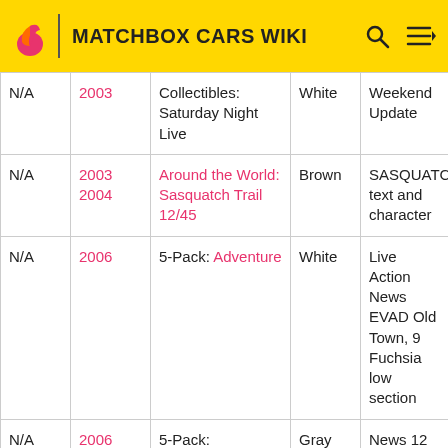MATCHBOX CARS WIKI
|  | Year | Set | Color | Notes |
| --- | --- | --- | --- | --- |
| N/A | 2003 | Collectibles: Saturday Night Live | White | Weekend Update |
| N/A | 2003 2004 | Around the World: Sasquatch Trail 12/45 | Brown | SASQUATCH text and character |
| N/A | 2006 | 5-Pack: Adventure | White | Live Action News EVAD Old Town, 9 Fuchsia low section |
| N/A | 2006 | 5-Pack: Superman | Gray | News 12 Live The Pulse of Metropolis |
| N/A | 2006 | 5-Pack: | Yellow |  |